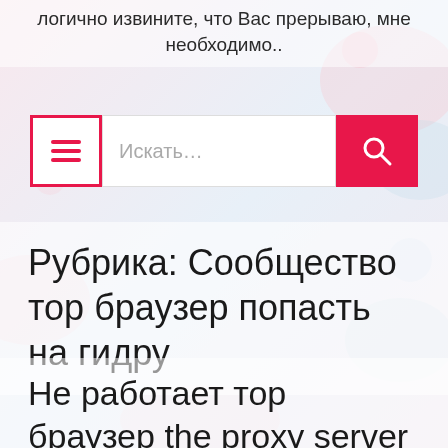логично извините, что Вас прерываю, мне необходимо..
[Figure (screenshot): Search bar with hamburger menu button (pink border), text input with placeholder 'Искать...', and pink search button with magnifying glass icon]
Рубрика: Сообщество тор браузер попасть на гидру
Не работает тор браузер the proxy server is refusing connections попасть на гидру